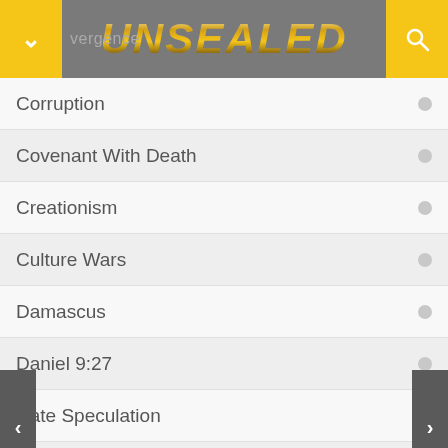[Figure (screenshot): App header with yellow buttons on left and right, gray background, 'vergence' text partially visible on left, 'UNSEALED' gold title in center, search icon on right]
Corruption
Covenant With Death
Creationism
Culture Wars
Damascus
Daniel 9:27
Date Speculation
Debt Crisis
Delusion
Demonic Activity